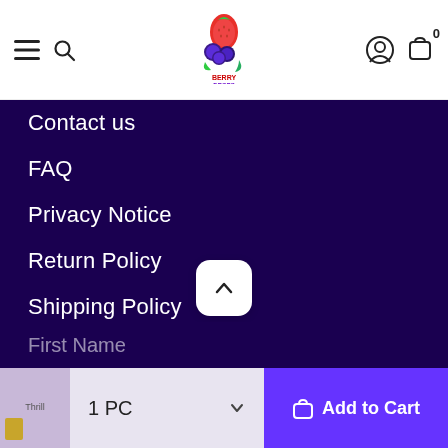Navigation header with hamburger menu, search icon, logo, user icon, and cart icon with badge 0
Contact us
FAQ
Privacy Notice
Return Policy
Shipping Policy
Terms of purchase
Terms of use
About Us
First Name
1 PC
Add to Cart